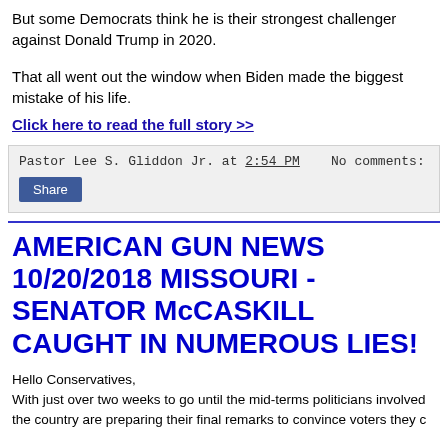But some Democrats think he is their strongest challenger against Donald Trump in 2020.
That all went out the window when Biden made the biggest mistake of his life.
Click here to read the full story >>
Pastor Lee S. Gliddon Jr. at 2:54 PM   No comments:
Share
AMERICAN GUN NEWS 10/20/2018 MISSOURI - SENATOR McCASKILL CAUGHT IN NUMEROUS LIES!
Hello Conservatives, With just over two weeks to go until the mid-terms politicians involved the country are preparing their final remarks to convince voters they c